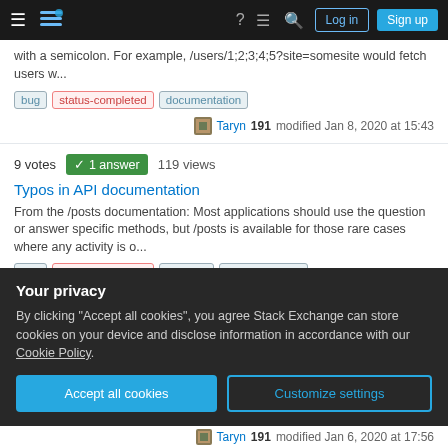Stack Exchange navigation bar with Log in and Sign up buttons
with a semicolon. For example, /users/1;2;3;4;5?site=somesite would fetch users w...
bug   status-completed   documentation
Taryn 191 modified Jan 8, 2020 at 15:43
9 votes  1 answer  119 views
Typos in API documentation
From the /posts documentation: Most applications should use the question or answer specific methods, but /posts is available for those rare cases where any activity is o...
bug   status-completed   api-v2.2   documentation
Taryn 191 modified Jan 8, 2020 at 15:39
Your privacy
By clicking "Accept all cookies", you agree Stack Exchange can store cookies on your device and disclose information in accordance with our Cookie Policy.
Accept all cookies   Customize settings
Taryn 191 modified Jan 6, 2020 at 17:56